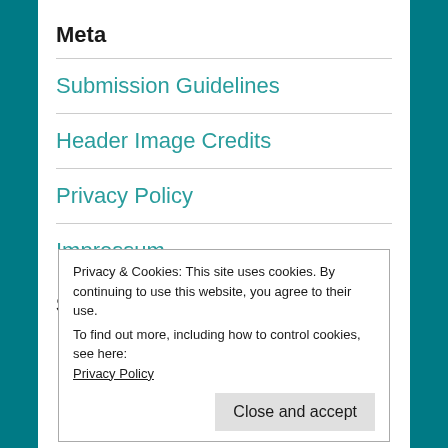Meta
Submission Guidelines
Header Image Credits
Privacy Policy
Impressum
Search Site
Privacy & Cookies: This site uses cookies. By continuing to use this website, you agree to their use.
To find out more, including how to control cookies, see here:
Privacy Policy
Close and accept